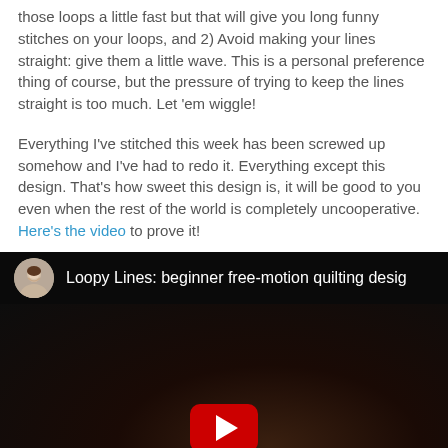those loops a little fast but that will give you long funny stitches on your loops, and 2) Avoid making your lines straight: give them a little wave. This is a personal preference thing of course, but the pressure of trying to keep the lines straight is too much. Let 'em wiggle!
Everything I've stitched this week has been screwed up somehow and I've had to redo it. Everything except this design. That's how sweet this design is, it will be good to you even when the rest of the world is completely uncooperative. Here's the video to prove it!
[Figure (screenshot): YouTube video thumbnail for 'Loopy Lines: beginner free-motion quilting design' showing a dark background with hands quilting, a red play button in the center, and a circular avatar of a woman in the top bar.]